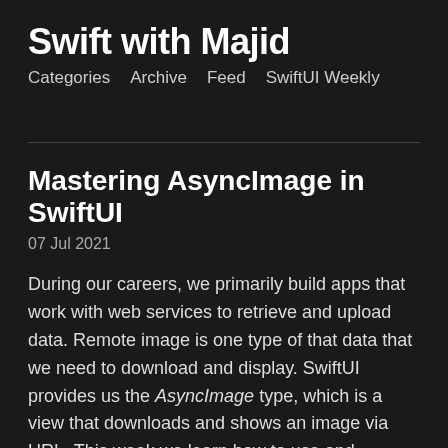Swift with Majid
Categories   Archive   Feed   SwiftUI Weekly
Mastering AsyncImage in SwiftUI
07 Jul 2021
During our careers, we primarily build apps that work with web services to retrieve and upload data. Remote image is one type of that data that we need to download and display. SwiftUI provides us the AsyncImage type, which is a view that downloads and shows an image via URL. This week we learn how to use and customize AsyncImage in SwiftUI.
Basics